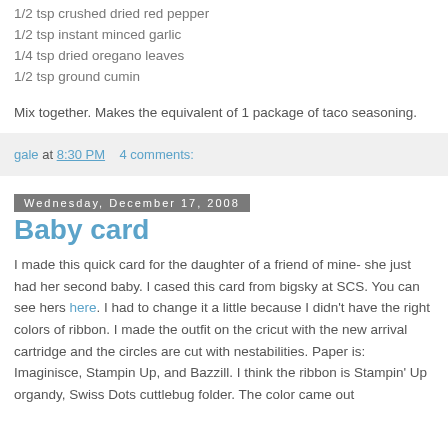1/2 tsp crushed dried red pepper
1/2 tsp instant minced garlic
1/4 tsp dried oregano leaves
1/2 tsp ground cumin
Mix together. Makes the equivalent of 1 package of taco seasoning.
gale at 8:30 PM    4 comments:
Wednesday, December 17, 2008
Baby card
I made this quick card for the daughter of a friend of mine- she just had her second baby. I cased this card from bigsky at SCS. You can see hers here. I had to change it a little because I didn't have the right colors of ribbon. I made the outfit on the cricut with the new arrival cartridge and the circles are cut with nestabilities. Paper is: Imaginisce, Stampin Up, and Bazzill. I think the ribbon is Stampin' Up organdy, Swiss Dots cuttlebug folder. The color came out